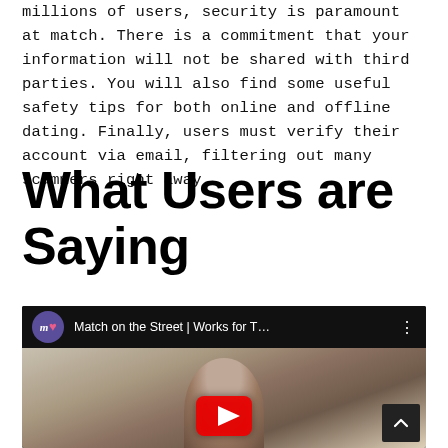millions of users, security is paramount at match. There is a commitment that your information will not be shared with third parties. You will also find some useful safety tips for both online and offline dating. Finally, users must verify their account via email, filtering out many scammers right away.
What Users are Saying
[Figure (screenshot): A YouTube video embed showing 'Match on the Street | Works for T...' with a blurred outdoor photo of a person and a YouTube play button at the bottom. The video bar shows the Match logo (m with heart dot) and a three-dot menu icon.]